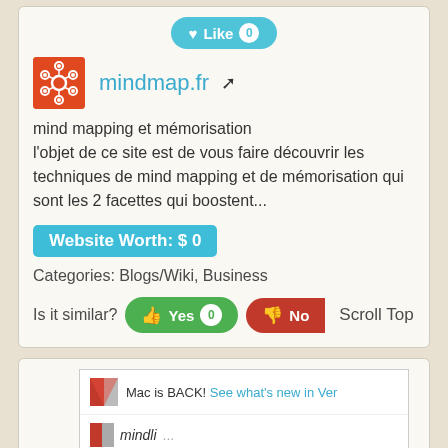[Figure (other): Like button with heart icon and count 0]
[Figure (logo): mindmap.fr orange site icon with network/gear graphic]
mindmap.fr
mind mapping et mémorisation
l'objet de ce site est de vous faire découvrir les techniques de mind mapping et de mémorisation qui sont les 2 facettes qui boostent...
Website Worth: $ 0
Categories: Blogs/Wiki, Business
Is it similar?
Yes 0
No
Scroll Top
[Figure (screenshot): Screenshot showing Mac is BACK! See what's new in Ver... with M logo]